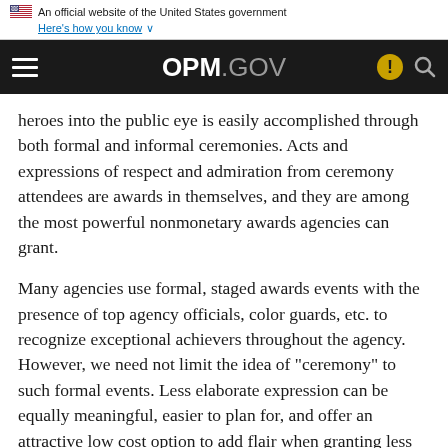An official website of the United States government
Here's how you know
OPM.GOV
heroes into the public eye is easily accomplished through both formal and informal ceremonies. Acts and expressions of respect and admiration from ceremony attendees are awards in themselves, and they are among the most powerful nonmonetary awards agencies can grant.
Many agencies use formal, staged awards events with the presence of top agency officials, color guards, etc. to recognize exceptional achievers throughout the agency. However, we need not limit the idea of "ceremony" to such formal events. Less elaborate expression can be equally meaningful, easier to plan for, and offer an attractive low cost option to add flair when granting less formal recognition and awards.